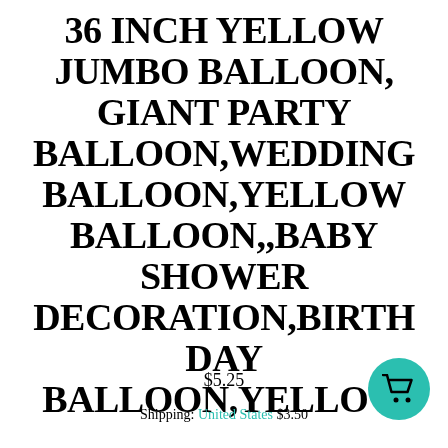36 INCH YELLOW JUMBO BALLOON, GIANT PARTY BALLOON,WEDDING BALLOON,YELLOW BALLOON,,BABY SHOWER DECORATION,BIRTH DAY BALLOON,YELLOW
$5.25
Shipping: United States $3.50
[Figure (illustration): Teal/turquoise circular cart button icon in bottom right corner]